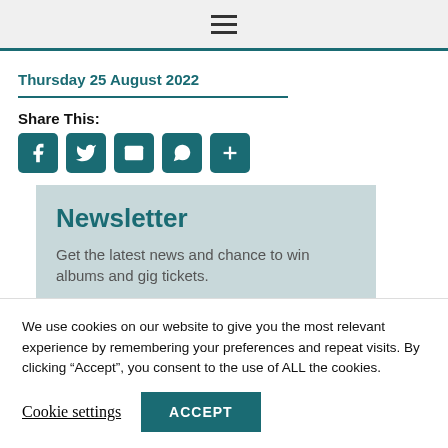Navigation bar with hamburger menu
Thursday 25 August 2022
Share This:
[Figure (other): Social share icons: Facebook, Twitter, Email, WhatsApp, More (+)]
Newsletter
Get the latest news and chance to win albums and gig tickets.
We use cookies on our website to give you the most relevant experience by remembering your preferences and repeat visits. By clicking “Accept”, you consent to the use of ALL the cookies.
Cookie settings  ACCEPT